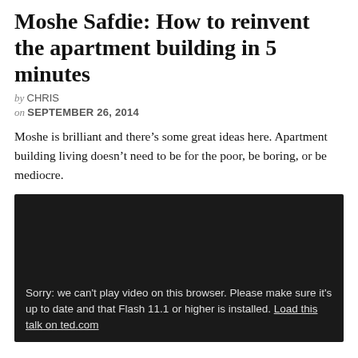Moshe Safdie: How to reinvent the apartment building in 5 minutes
by CHRIS
on SEPTEMBER 26, 2014
Moshe is brilliant and there’s some great ideas here. Apartment building living doesn’t need to be for the poor, be boring, or be mediocre.
[Figure (screenshot): Dark video player with error message: Sorry: we can't play video on this browser. Please make sure it's up to date and that Flash 11.1 or higher is installed. Load this talk on ted.com]